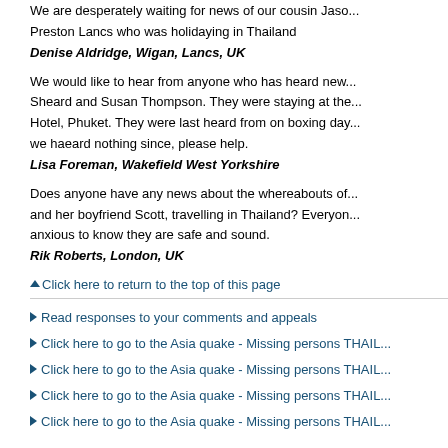We are desperately waiting for news of our cousin Jason... Preston Lancs who was holidaying in Thailand
Denise Aldridge, Wigan, Lancs, UK
We would like to hear from anyone who has heard news of... Sheard and Susan Thompson. They were staying at the... Hotel, Phuket. They were last heard from on boxing day... we haeard nothing since, please help.
Lisa Foreman, Wakefield West Yorkshire
Does anyone have any news about the whereabouts of... and her boyfriend Scott, travelling in Thailand? Everyone... anxious to know they are safe and sound.
Rik Roberts, London, UK
Click here to return to the top of this page
Read responses to your comments and appeals
Click here to go to the Asia quake - Missing persons THAIL...
Click here to go to the Asia quake - Missing persons THAIL...
Click here to go to the Asia quake - Missing persons THAIL...
Click here to go to the Asia quake - Missing persons THAIL...